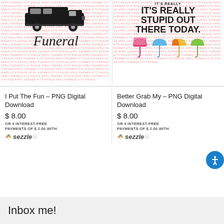[Figure (illustration): Product thumbnail: hearse car illustration with cursive 'Funeral' text on pink repeating text background]
[Figure (illustration): Product thumbnail: bold text saying IT'S REALLY STUPID OUT THERE TODAY with colorful umbrellas on pink repeating text background]
I Put The Fun - PNG Digital Download
$ 8.00
OR 4 INTEREST-FREE PAYMENTS OF $ 2.00 WITH sezzle
Better Grab My - PNG Digital Download
$ 8.00
OR 4 INTEREST-FREE PAYMENTS OF $ 2.00 WITH sezzle
Inbox me!